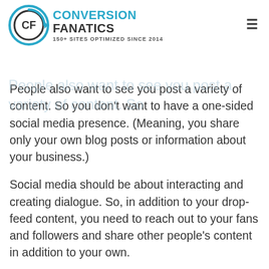Conversion Fanatics — 150+ Sites Optimized Since 2014
People also want to see you post a variety of content. So you don't want to have a one-sided social media presence. (Meaning, you share only your own blog posts or information about your business.)
Social media should be about interacting and creating dialogue. So, in addition to your drop-feed content, you need to reach out to your fans and followers and share other people's content in addition to your own.
Your Finances Are Left Unchecked
You have a lot of tools at your disposal that can automate and simplify your financial management and bookkeeping processes. And while these tools can save you time and reduce the hassle of having to pay bills and